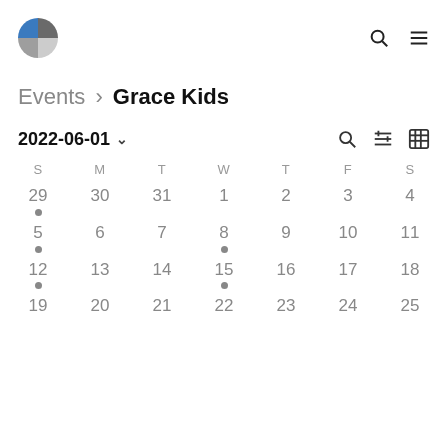[Figure (logo): Quarter-circle logo in blue and gray]
Events › Grace Kids
2022-06-01 ∨
| S | M | T | W | T | F | S |
| --- | --- | --- | --- | --- | --- | --- |
| 29• | 30 | 31 | 1 | 2 | 3 | 4 |
| 5• | 6 | 7 | 8• | 9 | 10 | 11 |
| 12• | 13 | 14 | 15• | 16 | 17 | 18 |
| 19 | 20 | 21 | 22 | 23 | 24 | 25 |